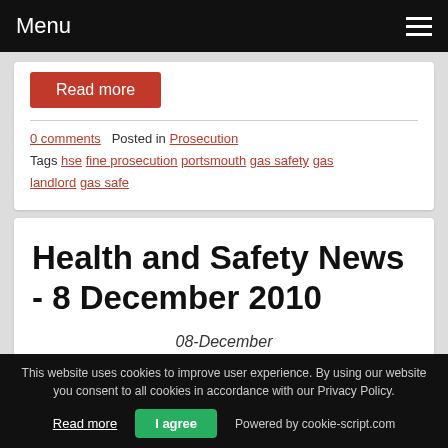Menu
Read more
0 comments   Posted in Prosecution
Tags hse fine prosecution portsmouth gas safety gas landlord gas safe
Health and Safety News - 8 December 2010
08-December
This website uses cookies to improve user experience. By using our website you consent to all cookies in accordance with our Privacy Policy.
Read more   I agree   Powered by cookie-script.com